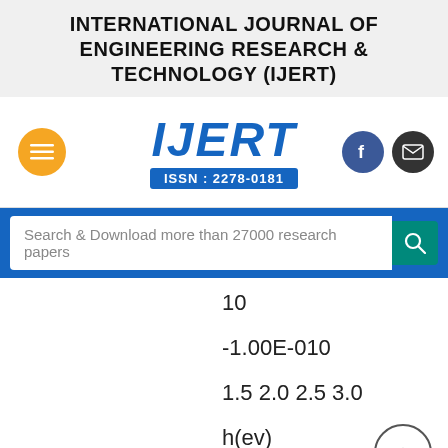INTERNATIONAL JOURNAL OF ENGINEERING RESEARCH & TECHNOLOGY (IJERT)
[Figure (logo): IJERT logo with ISSN 2278-0181, hamburger menu button (orange), Facebook and email social buttons]
Search & Download more than 27000 research papers
10
-1.00E-010
1.5 2.0 2.5 3.0
h(ev)
Cu mol%
Cu mol%